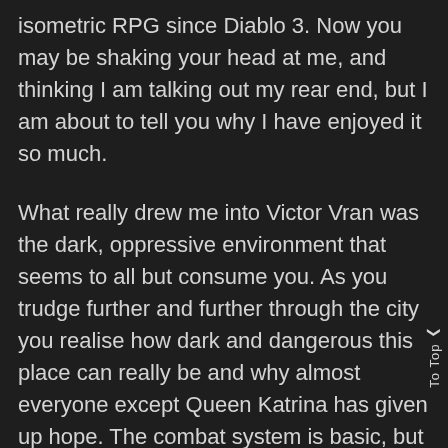isometric RPG since Diablo 3. Now you may be shaking your head at me, and thinking I am talking out my rear end, but I am about to tell you why I have enjoyed it so much.
What really drew me into Victor Vran was the dark, oppressive environment that seems to all but consume you. As you trudge further and further through the city you realise how dark and dangerous this place can really be and why almost everyone except Queen Katrina has given up hope. The combat system is basic, but it works. There is no fancy combination of buttons you need to hit, in fact the hardest decision you have to make is when the right time is to use your special abilities to have the maximum possible impact, and like Diablo you have a cool down timer on these abilities. Only downfall to these abilities is that they are set in stone depending